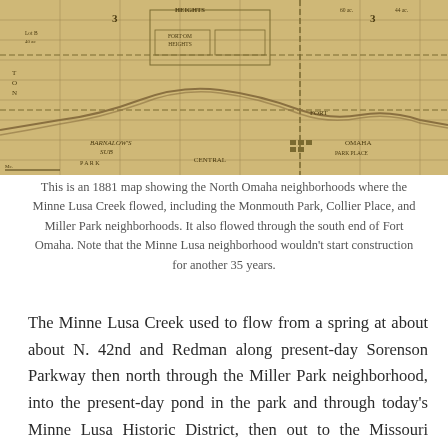[Figure (map): An 1881 historical map showing North Omaha neighborhoods including Barnalow's Sub, Fort Omaha Heights, Central Park, and surrounding areas with Minne Lusa Creek paths and lot divisions.]
This is an 1881 map showing the North Omaha neighborhoods where the Minne Lusa Creek flowed, including the Monmouth Park, Collier Place, and Miller Park neighborhoods. It also flowed through the south end of Fort Omaha. Note that the Minne Lusa neighborhood wouldn't start construction for another 35 years.
The Minne Lusa Creek used to flow from a spring at about about N. 42nd and Redman along present-day Sorenson Parkway then north through the Miller Park neighborhood, into the present-day pond in the park and through today's Minne Lusa Historic District, then out to the Missouri River. Sometimes called the Fort Omaha Creek, it was a popular